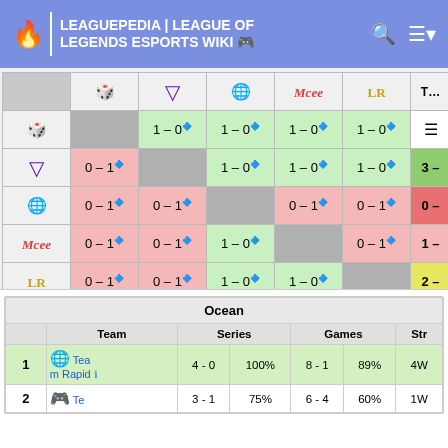LEAGUEPEDIA | LEAGUE OF LEGENDS ESPORTS WIKI
|  | Team1(dice) | Team2(tri) | Team3(globe) | Team4(mcee) | Team5(LR) | Total |
| --- | --- | --- | --- | --- | --- | --- |
| Team1(dice) | - | 1-0 | 1-0 | 1-0 | 1-0 | ... |
| Team2(tri) | 0-1 | - | 1-0 | 1-0 | 1-0 | 3-... |
| Team3(globe) | 0-1 | 0-1 | - | 0-1 | 0-1 | 0-... |
| Team4(mcee) | 0-1 | 0-1 | 1-0 | - | 0-1 | 1-... |
| Team5(LR) | 0-1 | 0-1 | 1-0 | 1-0 | - | 2-... |
|  | Team | Series |  | Games |  | Str |
| --- | --- | --- | --- | --- | --- | --- |
| 1 | Team Rapid | 4 - 0 | 100% | 8 - 1 | 89% | 4W |
| 2 | Te... | 3 - 1 | 75% | 6 - 4 | 60% | 1W |